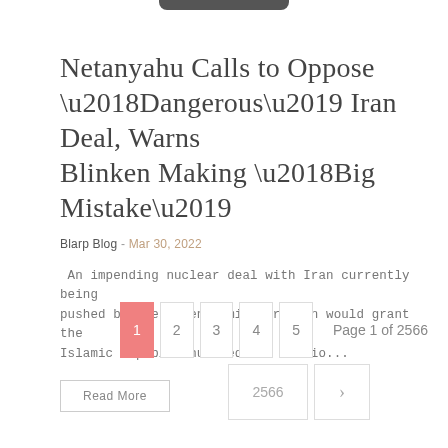Netanyahu Calls to Oppose ‘Dangerous’ Iran Deal, Warns Blinken Making ‘Big Mistake’
Blarp Blog - Mar 30, 2022
An impending nuclear deal with Iran currently being pushed by the Biden administration would grant the Islamic Republic hundreds of billio...
Read More
1  2  3  4  5  Page 1 of 2566  2566  >